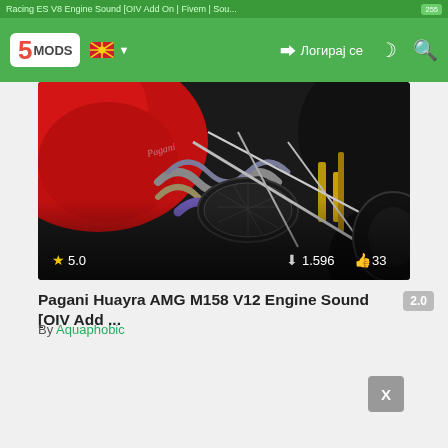Racing ES V8 Engine Sound [OIV Add On | Fivem | Sou...
[Figure (screenshot): 5MODS navigation bar with logo, Macedonian flag, login button, dark mode icon and search icon on green background]
[Figure (photo): Close-up photo of a Pagani Huayra engine showing red bodywork, chrome exhaust headers, carbon fiber components, and mechanical details. Rating 5.0 stars, 1,596 downloads, 33 likes shown at bottom.]
Pagani Huayra AMG M158 V12 Engine Sound [OIV Add ...
By Aquaphobic
[Figure (other): Close X button (advertisement close button)]